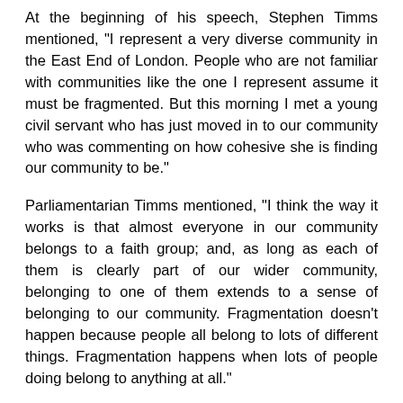At the beginning of his speech, Stephen Timms mentioned, "I represent a very diverse community in the East End of London. People who are not familiar with communities like the one I represent assume it must be fragmented. But this morning I met a young civil servant who has just moved in to our community who was commenting on how cohesive she is finding our community to be."
Parliamentarian Timms mentioned, "I think the way it works is that almost everyone in our community belongs to a faith group; and, as long as each of them is clearly part of our wider community, belonging to one of them extends to a sense of belonging to our community. Fragmentation doesn't happen because people all belong to lots of different things. Fragmentation happens when lots of people doing belong to anything at all."
"It is often said that "you shouldn't mix